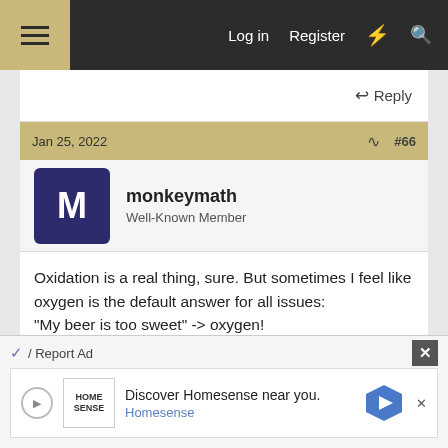Log in  Register
Reply
Jan 25, 2022  #66
monkeymath
Well-Known Member
Oxidation is a real thing, sure. But sometimes I feel like oxygen is the default answer for all issues:
"My beer is too sweet" -> oxygen!
"My beer is too bitter" -> oxygen!
"My wife doesn't love me anymore!" -> oxygen!

More often than not, there's no way to move forward in a conversation because oxygen being the culprit is
Report Ad
Discover Homesense near you.
Homesense